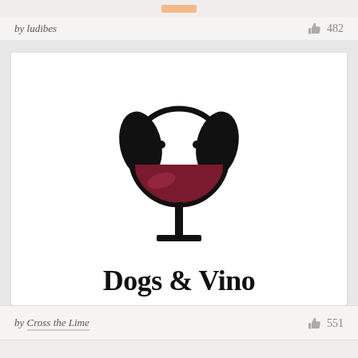by ludibes
482
[Figure (logo): Dogs & Vino logo: a dog face formed by a wine glass outline, with floppy black ears, two dot eyes, and a dark red wine glass bowl as the dog's snout/face. Below the illustration is the text 'Dogs & Vino' in bold serif font.]
by Cross the Lime
551